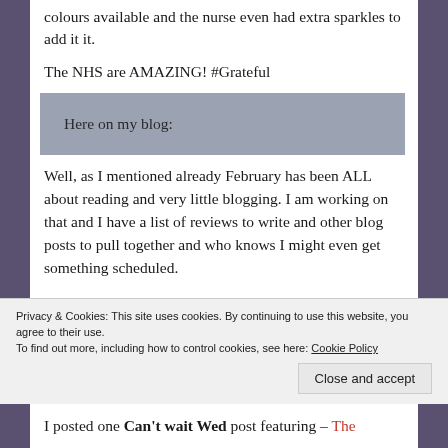colours available and the nurse even had extra sparkles to add it it.
The NHS are AMAZING! #Grateful
Here on my blog:
Well, as I mentioned already February has been ALL about reading and very little blogging. I am working on that and I have a list of reviews to write and other blog posts to pull together and who knows I might even get something scheduled.
Privacy & Cookies: This site uses cookies. By continuing to use this website, you agree to their use.
To find out more, including how to control cookies, see here: Cookie Policy
I posted one Can't wait Wed post featuring – The